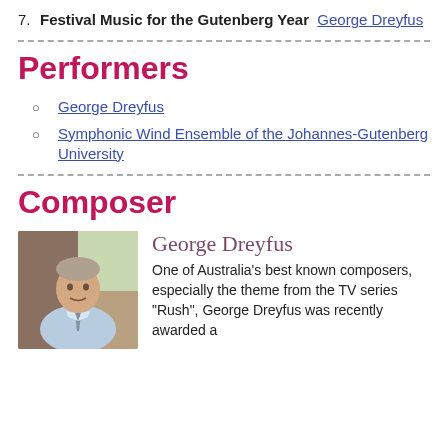7. Festival Music for the Gutenberg Year  George Dreyfus
Performers
George Dreyfus
Symphonic Wind Ensemble of the Johannes-Gutenberg University
Composer
[Figure (photo): Portrait photo of an elderly man, George Dreyfus, seated, wearing a light blue shirt and tie, smiling, in what appears to be a study or office.]
George Dreyfus
One of Australia's best known composers, especially the theme from the TV series "Rush", George Dreyfus was recently awarded a